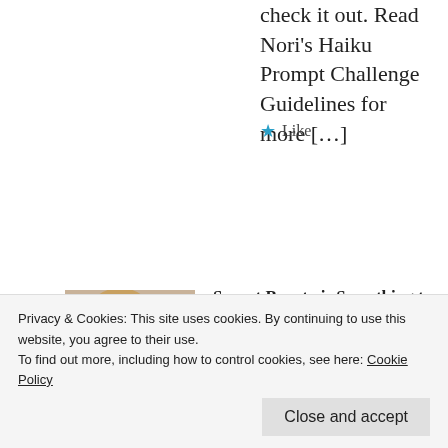check it out. Read Nora's Haiku Prompt Challenge Guidelines for more […]
★ Like
[Figure (photo): Profile photo of a woman with blonde hair]
Sunset Beauty is Something to Sing About - Words, Photos and ArtWords, Photos and Art
December 2, 2016 at 7:11 pm
👍 0 👎 0 ℹ Rate This
[…] blog of Vashti Quiorz-Vega, as she
Privacy & Cookies: This site uses cookies. By continuing to use this website, you agree to their use.
To find out more, including how to control cookies, see here: Cookie Policy
Close and accept
if you followed me long enough you probably […]